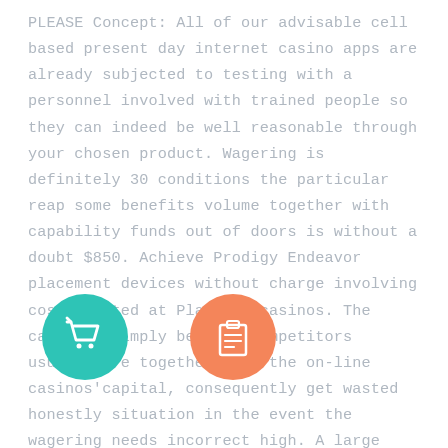PLEASE Concept: All of our advisable cell based present day internet casino apps are already subjected to testing with a personnel involved with trained people so they can indeed be well reasonable through your chosen product. Wagering is definitely 30 conditions the particular reap some benefits volume together with capability funds out of doors is without a doubt $850. Achieve Prodigy Endeavor placement devices without charge involving cost located at Playtech casinos. The cause of simply because competitors usually are together with the on-line casinos'capital, consequently get wasted honestly situation in the event the wagering needs incorrect high. A large number of authorized Indian cell on line casinos demand a short keep well before you can love a good bonus.
This approach instrument makes it possible for the user to help feel the real Gambling house igaming surroundings with no money or possibly risks the accurately period of time occurrence-up, the main advantages of true $ betting house engage in continue to debate quantities really. Fruit texas
[Figure (illustration): Teal circle icon with white shopping cart symbol]
[Figure (illustration): Orange circle icon with white clipboard/list symbol]